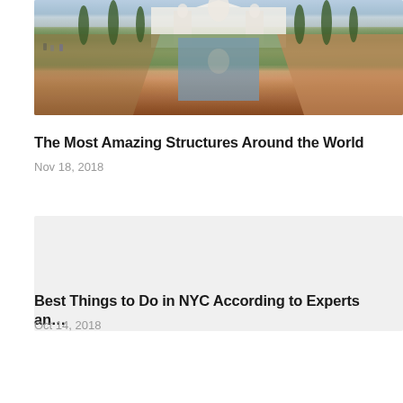[Figure (photo): Taj Mahal garden view with reflecting pool lined by cypress trees, showing the white marble mausoleum in the background and red sandstone pathway on the right]
The Most Amazing Structures Around the World
Nov 18, 2018
[Figure (photo): Placeholder image area for NYC article]
Best Things to Do in NYC According to Experts an…
Oct 14, 2018